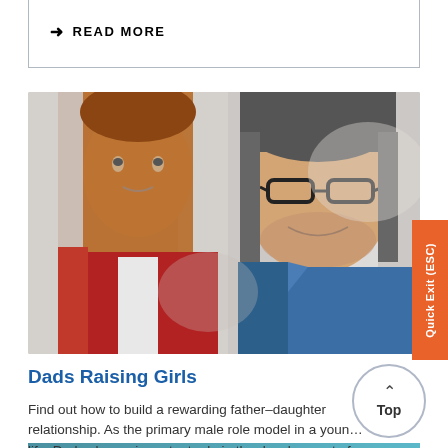→ READ MORE
[Figure (photo): A young girl and a man with glasses smiling and talking to each other, father-daughter interaction]
Quick Exit (ESC)
Dads Raising Girls
Find out how to build a rewarding father-daughter relationship. As the primary male role model in a young girl's life, Dads play an important role in the development of their self-concept and self-esteem. This can often affect